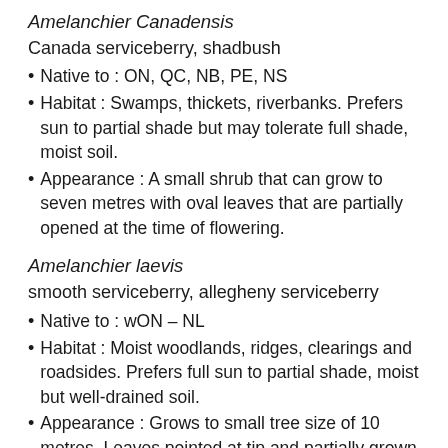Amelanchier Canadensis
Canada serviceberry, shadbush
Native to : ON, QC, NB, PE, NS
Habitat : Swamps, thickets, riverbanks. Prefers sun to partial shade but may tolerate full shade, moist soil.
Appearance : A small shrub that can grow to seven metres with oval leaves that are partially opened at the time of flowering.
Amelanchier laevis
smooth serviceberry, allegheny serviceberry
Native to : wON – NL
Habitat : Moist woodlands, ridges, clearings and roadsides. Prefers full sun to partial shade, moist but well-drained soil.
Appearance : Grows to small tree size of 10 metres. Leaves pointed at tip and partially grown at the time of